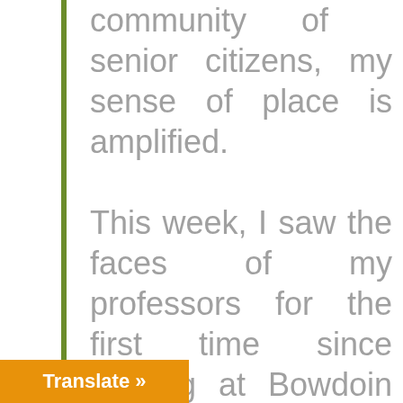community of senior citizens, my sense of place is amplified.

This week, I saw the faces of my professors for the first time since arriving at Bowdoin last year. After two semesters without upperclass students on campus and the presence …d-19 constantly on